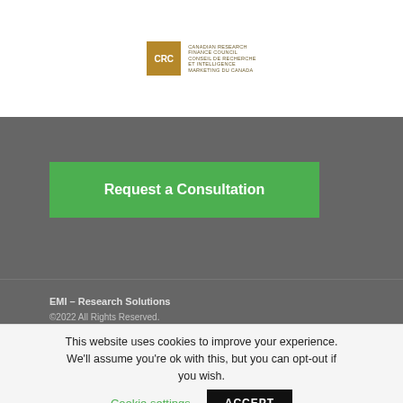[Figure (logo): CRC logo — golden square with 'CRC' text and bilingual organization name beside it]
Request a Consultation
EMI – Research Solutions
©2022 All Rights Reserved.
This website uses cookies to improve your experience. We'll assume you're ok with this, but you can opt-out if you wish.  Cookie settings  ACCEPT